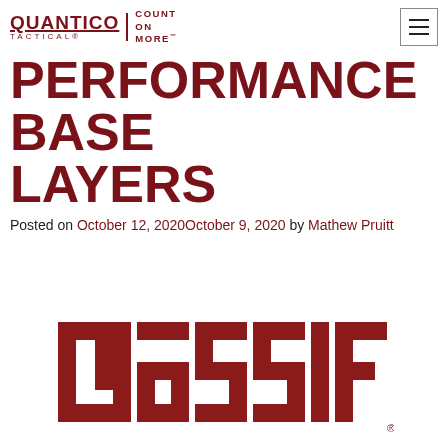QUANTICO TACTICAL | COUNT ON MORE
PERFORMANCE BASE LAYERS
Posted on October 12, 2020October 9, 2020 by Mathew Pruitt
[Figure (logo): Massif brand logo in dark red/maroon color, large stylized text reading 'massif' with geometric maze-like letterforms and a registered trademark symbol]